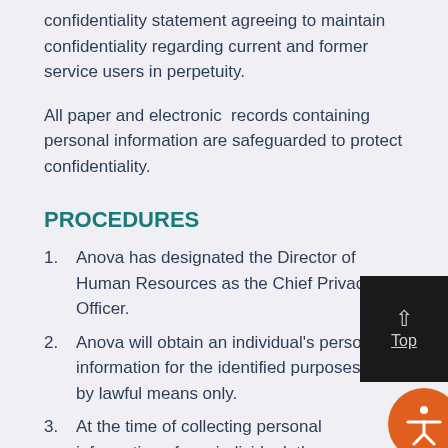confidentiality statement agreeing to maintain confidentiality regarding current and former service users in perpetuity.
All paper and electronic  records containing personal information are safeguarded to protect confidentiality.
PROCEDURES
Anova has designated the Director of Human Resources as the Chief Privacy Officer.
Anova will obtain an individual's personal information for the identified purposes and by lawful means only.
At the time of collecting personal information of any individual, the purpose for the